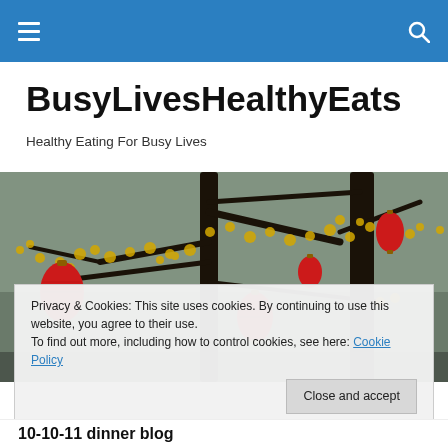BusyLivesHealthyEats — navigation bar with hamburger menu and search icon
BusyLivesHealthyEats
Healthy Eating For Busy Lives
[Figure (photo): Banner photo showing tree branches with yellow blossoms and red lanterns hanging from them]
Privacy & Cookies: This site uses cookies. By continuing to use this website, you agree to their use.
To find out more, including how to control cookies, see here: Cookie Policy
[Close and accept button]
10-10-11 dinner blog